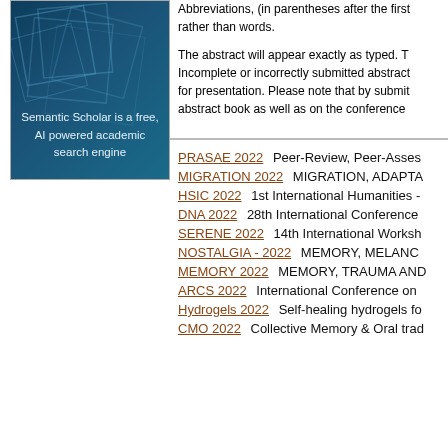Abbreviations, (in parentheses after the first use) rather than words.
The abstract will appear exactly as typed. Incomplete or incorrectly submitted abstracts for presentation. Please note that by submitting abstract book as well as on the conference
[Figure (illustration): Semantic Scholar advertisement banner: dark blue background with geometric square shapes, text reads 'Semantic Scholar is a free, AI powered academic search engine']
PRASAE 2022   Peer-Review, Peer-Asses...
MIGRATION 2022   MIGRATION, ADAPTA...
HSIC 2022   1st International Humanities -...
DNA 2022   28th International Conference...
SERENE 2022   14th International Worksh...
NOSTALGIA - 2022   MEMORY, MELANC...
MEMORY 2022   MEMORY, TRAUMA AND...
ARCS 2022   International Conference on...
Hydrogels 2022   Self-healing hydrogels fo...
CMO 2022   Collective Memory & Oral trad...